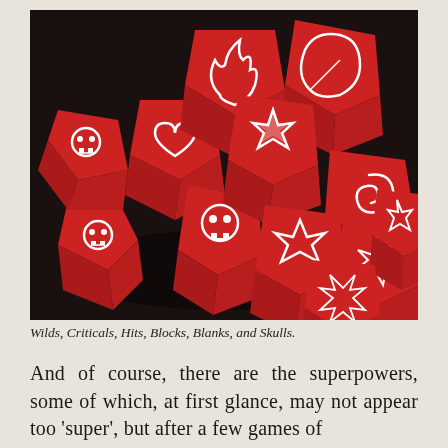[Figure (photo): A pile of red octahedral dice with white symbols including skulls, stars/criticals, swirls (wilds), and other game symbols on a dark background.]
Wilds, Criticals, Hits, Blocks, Blanks, and Skulls.
And of course, there are the superpowers, some of which, at first glance, may not appear too 'super', but after a few games of